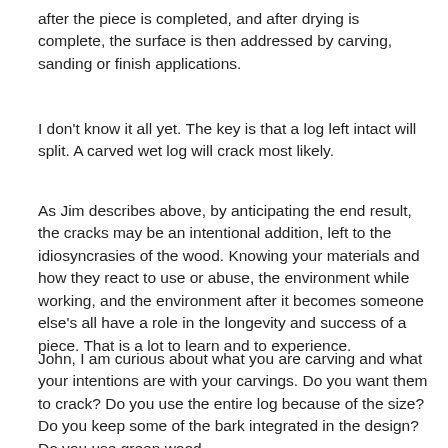after the piece is completed, and after drying is complete, the surface is then addressed by carving, sanding or finish applications.
I don't know it all yet. The key is that a log left intact will split. A carved wet log will crack most likely.
As Jim describes above, by anticipating the end result, the cracks may be an intentional addition, left to the idiosyncrasies of the wood. Knowing your materials and how they react to use or abuse, the environment while working, and the environment after it becomes someone else's all have a role in the longevity and success of a piece. That is a lot to learn and to experience.
John, I am curious about what you are carving and what your intentions are with your carvings. Do you want them to crack? Do you use the entire log because of the size? Do you keep some of the bark integrated in the design? Do you use green wood